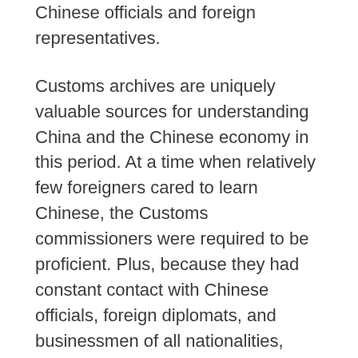Chinese officials and foreign representatives.
Customs archives are uniquely valuable sources for understanding China and the Chinese economy in this period. At a time when relatively few foreigners cared to learn Chinese, the Customs commissioners were required to be proficient. Plus, because they had constant contact with Chinese officials, foreign diplomats, and businessmen of all nationalities, Customs commissioners were often exceptionally well informed.
To understand the material included in China from Empire to Republic: Records of the Maritime Customs Service of China (1854–1949), a new online database from Gale releasing on August 25, a certain amount of